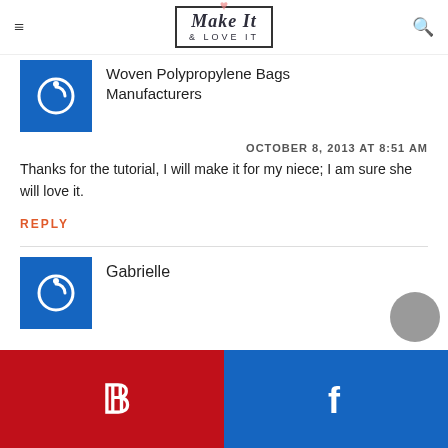Make It & Love It
Woven Polypropylene Bags Manufacturers
OCTOBER 8, 2013 AT 8:51 AM
Thanks for the tutorial, I will make it for my niece; I am sure she will love it.
REPLY
Gabrielle